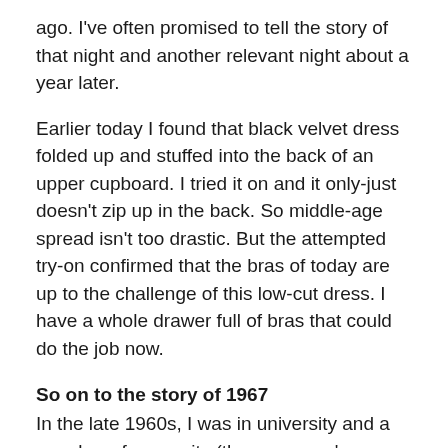ago. I've often promised to tell the story of that night and another relevant night about a year later.
Earlier today I found that black velvet dress folded up and stuffed into the back of an upper cupboard. I tried it on and it only-just doesn't zip up in the back. So middle-age spread isn't too drastic. But the attempted try-on confirmed that the bras of today are up to the challenge of this low-cut dress. I have a whole drawer full of bras that could do the job now.
So on to the story of 1967
In the late 1960s, I was in university and a member of a sorority (those women's organisations that are very popular in the USA). I thoroughly enjoyed my time in the sorority, but the annual formal did nothing for my confidence.